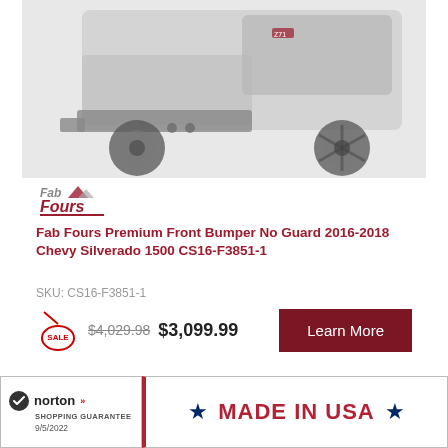[Figure (photo): Front view of a lifted Chevy Silverado truck with aftermarket front bumper, large off-road tires, and custom wheels on a white/light background.]
[Figure (logo): Fab Fours brand logo in red and grey script]
Fab Fours Premium Front Bumper No Guard 2016-2018 Chevy Silverado 1500 CS16-F3851-1
SKU: CS16-F3851-1
$4,029.98 $3,099.99
[Figure (illustration): Sale tag icon in red]
Learn More
[Figure (logo): Norton Shopping Guarantee badge with checkmark, dated 9/5/2022]
[Figure (infographic): Made in USA banner with two blue stars and American flag stripe on left]